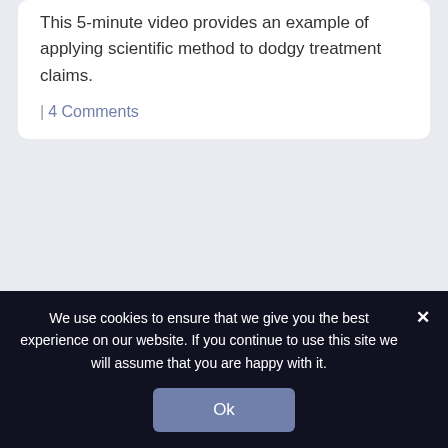This 5-minute video provides an example of applying scientific method to dodgy treatment claims.
| 4 Comments
Introduction to clinical trials: lay-friendly video
This lay-friendly video introduction to clinical trials was created by the European Communication on
We use cookies to ensure that we give you the best experience on our website. If you continue to use this site we will assume that you are happy with it.
Ok